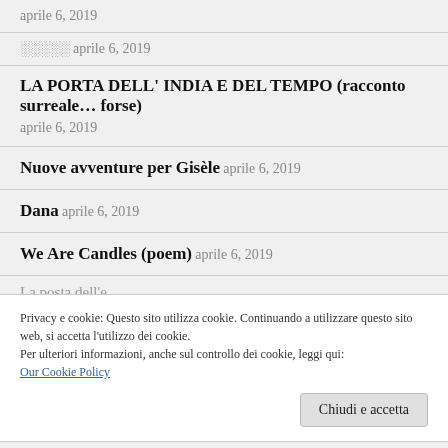aprile 6, 2019
░░░░░ aprile 6, 2019
LA PORTA DELL' INDIA E DEL TEMPO (racconto surreale… forse)
aprile 6, 2019
Nuove avventure per Gisèle aprile 6, 2019
Dana aprile 6, 2019
We Are Candles (poem) aprile 6, 2019
Privacy e cookie: Questo sito utilizza cookie. Continuando a utilizzare questo sito web, si accetta l'utilizzo dei cookie.
Per ulteriori informazioni, anche sul controllo dei cookie, leggi qui:
Our Cookie Policy